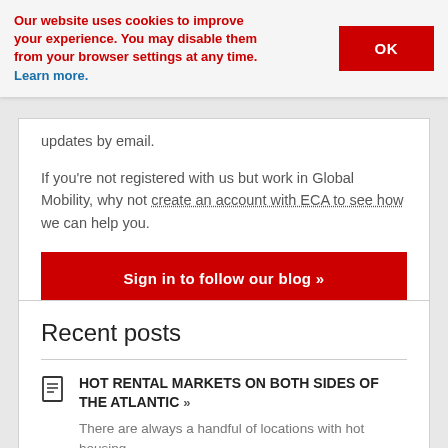Our website uses cookies to improve your experience. You may disable them from your browser settings at any time. Learn more.
updates by email.
If you're not registered with us but work in Global Mobility, why not create an account with ECA to see how we can help you.
Sign in to follow our blog »
Recent posts
HOT RENTAL MARKETS ON BOTH SIDES OF THE ATLANTIC »
There are always a handful of locations with hot housing...